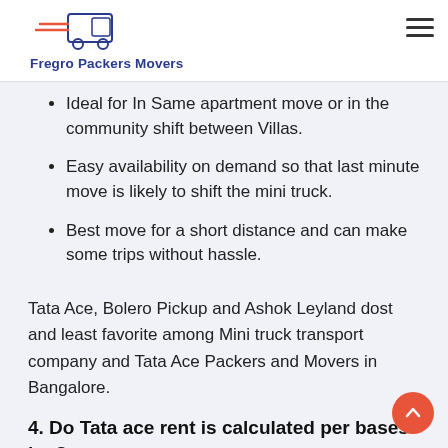Fregro Packers Movers
Ideal for In Same apartment move or in the community shift between Villas.
Easy availability on demand so that last minute move is likely to shift the mini truck.
Best move for a short distance and can make some trips without hassle.
Tata Ace, Bolero Pickup and Ashok Leyland dost and least favorite among Mini truck transport company and Tata Ace Packers and Movers in Bangalore.
4. Do Tata ace rent is calculated per bases km?
No, it comes with the package and we did not rent Tata ace at Kilometer Basic. Moving package includes Packing, transportation and stevedoring services.